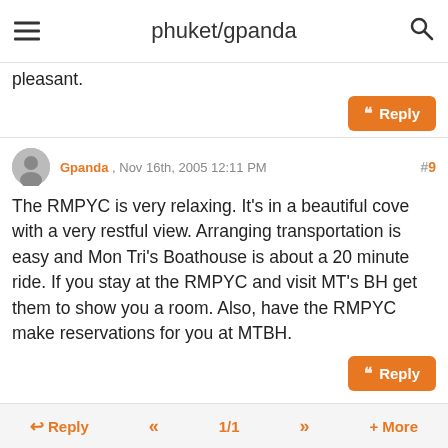phuket/gpanda
pleasant.
Gpanda , Nov 16th, 2005 12:11 PM #9
The RMPYC is very relaxing. It's in a beautiful cove with a very restful view. Arranging transportation is easy and Mon Tri's Boathouse is about a 20 minute ride. If you stay at the RMPYC and visit MT's BH get them to show you a room. Also, have the RMPYC make reservations for you at MTBH.
simpsonc510 , Nov 16th, 2005 07:00 PM #10
If you go to Mom Tri's Kitchen, have them show you one of